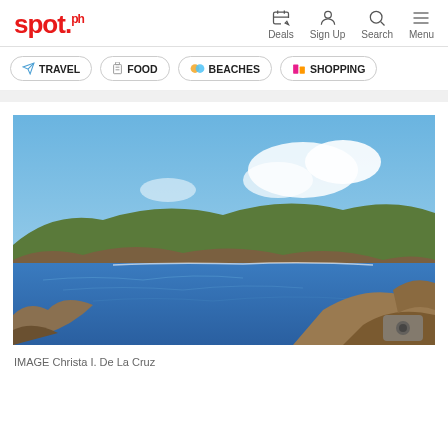spot.ph — Deals, Sign Up, Search, Menu
TRAVEL
FOOD
BEACHES
SHOPPING
[Figure (photo): Panoramic coastal landscape with a blue bay surrounded by brown rocky hillsides and green-topped mountains under a partly cloudy blue sky. Rocky foreground on the right side.]
IMAGE Christa I. De La Cruz